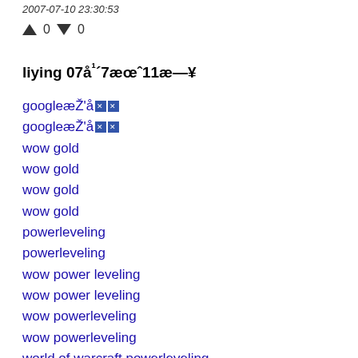2007-07-10 23:30:53
↑ 0 ↓ 0
liying 07å¹´7æœˆ11æ—¥
googleæŽ'åmx
googleæŽ'åmx
wow gold
wow gold
wow gold
wow gold
powerleveling
powerleveling
wow power leveling
wow power leveling
wow powerleveling
wow powerleveling
world of warcraft powerleveling
world of warcraft powerleveling
world of warcraft power leveling
world of warcraft power leveling